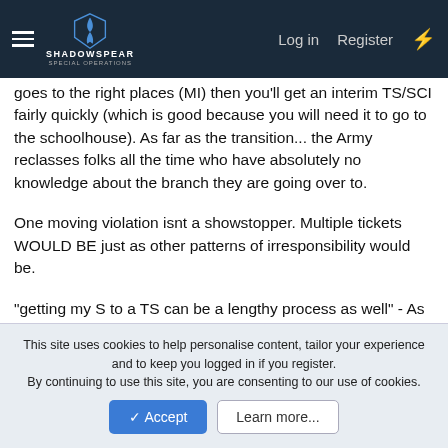ShadowSpear Special Operations - navigation bar with Log in, Register links
goes to the right places (MI) then you'll get an interim TS/SCI fairly quickly (which is good because you will need it to go to the schoolhouse). As far as the transition... the Army reclasses folks all the time who have absolutely no knowledge about the branch they are going over to.
One moving violation isnt a showstopper. Multiple tickets WOULD BE just as other patterns of irresponsibility would be.
"getting my S to a TS can be a lengthy process as well" - As already mentioned you will get a S upgraded to a INTERIM TS/SCI lickety split. Adjudicating a TS/SCI could take a while. A year easily but that all depends on your age and background. A Single Scope Background Investigation necessary for a TS/SCI will go back 10 years into your personal/employment history or
This site uses cookies to help personalise content, tailor your experience and to keep you logged in if you register.
By continuing to use this site, you are consenting to our use of cookies.